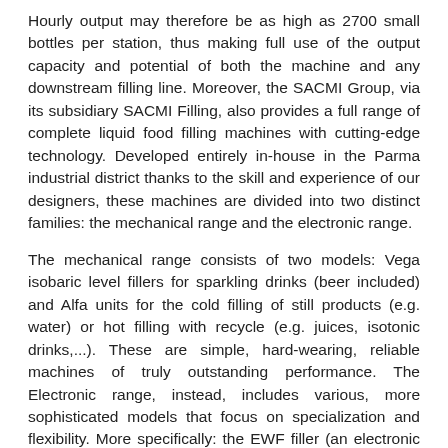Hourly output may therefore be as high as 2700 small bottles per station, thus making full use of the output capacity and potential of both the machine and any downstream filling line. Moreover, the SACMI Group, via its subsidiary SACMI Filling, also provides a full range of complete liquid food filling machines with cutting-edge technology. Developed entirely in-house in the Parma industrial district thanks to the skill and experience of our designers, these machines are divided into two distinct families: the mechanical range and the electronic range.
The mechanical range consists of two models: Vega isobaric level fillers for sparkling drinks (beer included) and Alfa units for the cold filling of still products (e.g. water) or hot filling with recycle (e.g. juices, isotonic drinks,...). These are simple, hard-wearing, reliable machines of truly outstanding performance. The Electronic range, instead, includes various, more sophisticated models that focus on specialization and flexibility. More specifically: the EWF filler (an electronic volumetric unit for still water with 1 flow meter per valve), the EWS filler (electronic volumetric for